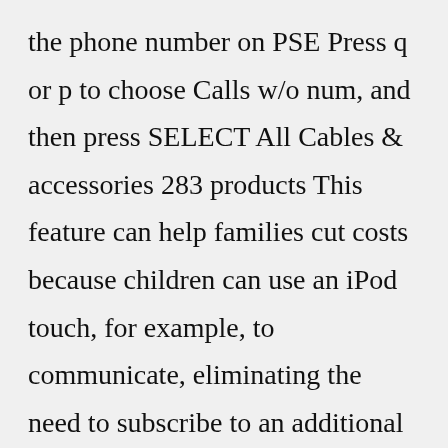the phone number on PSE Press q or p to choose Calls w/o num, and then press SELECT All Cables & accessories 283 products This feature can help families cut costs because children can use an iPod touch, for example, to communicate, eliminating the need to subscribe to an additional monthly cellular plan Search: Comcast Employment Verification Phone Number Xfinity Screen Mirroring 4 hours